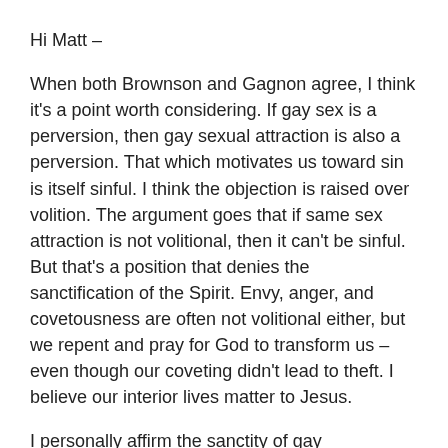Hi Matt –
When both Brownson and Gagnon agree, I think it's a point worth considering. If gay sex is a perversion, then gay sexual attraction is also a perversion. That which motivates us toward sin is itself sinful. I think the objection is raised over volition. The argument goes that if same sex attraction is not volitional, then it can't be sinful. But that's a position that denies the sanctification of the Spirit. Envy, anger, and covetousness are often not volitional either, but we repent and pray for God to transform us – even though our coveting didn't lead to theft. I believe our interior lives matter to Jesus.
I personally affirm the sanctity of gay relationships, so I don't believe gay sexual attraction is sinful. But I'm baffled by arguments that say, essentially, gay is bad, but gay is not bad.